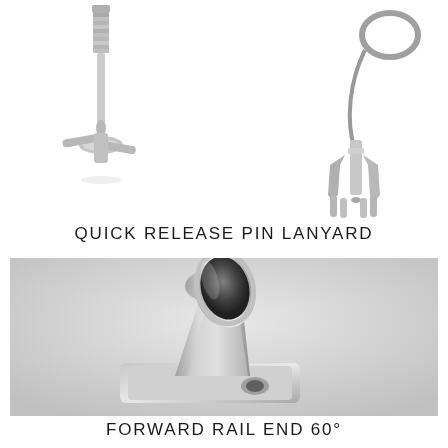[Figure (photo): Two stainless steel quick release pins with lanyard — left pin shown vertically with threaded tip and wing base, right pin shown with ring lanyard and clip mechanism]
QUICK RELEASE PIN LANYARD
[Figure (photo): Close-up of a stainless steel forward rail end fitting at 60 degrees — a polished tubular socket mounted on a square base plate with a countersunk hole, angled at approximately 60 degrees]
FORWARD RAIL END 60°